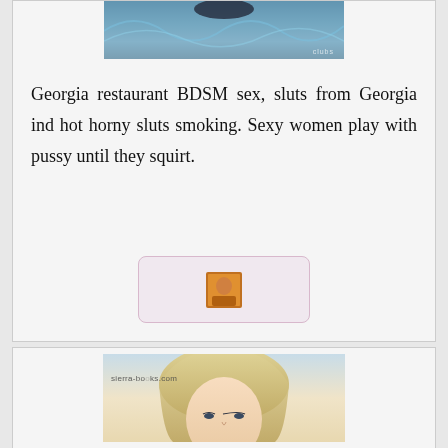[Figure (photo): Partial photo of a person in water, top portion visible, with light watermark text at bottom right]
Georgia restaurant BDSM sex, sluts from Georgia ind hot horny sluts smoking. Sexy women play with pussy until they squirt.
[Figure (photo): Small thumbnail image in a rounded pink/lavender box]
[Figure (photo): Photo of a blonde woman, head and shoulders, with sierra-books.com watermark overlay]